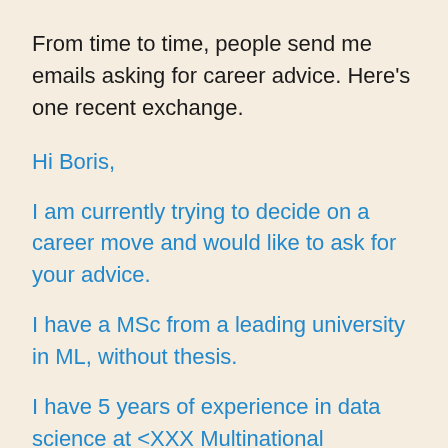From time to time, people send me emails asking for career advice. Here’s one recent exchange.
Hi Boris,
I am currently trying to decide on a career move and would like to ask for your advice.
I have a MSc from a leading university in ML, without thesis.
I have 5 years of experience in data science at <XXX Multinational Company> , producing ML based pipelines for the products. I have experience with Big Data (Spark...); ML deploy in production, data t...